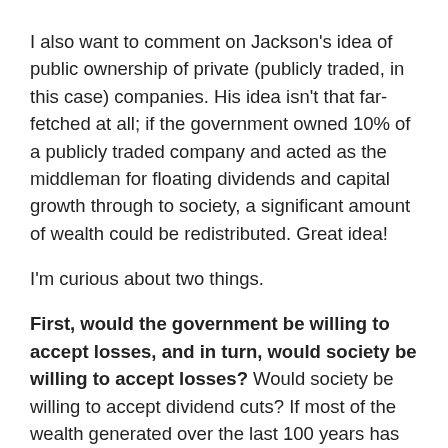I also want to comment on Jackson's idea of public ownership of private (publicly traded, in this case) companies. His idea isn't that far-fetched at all; if the government owned 10% of a publicly traded company and acted as the middleman for floating dividends and capital growth through to society, a significant amount of wealth could be redistributed. Great idea!
I'm curious about two things.
First, would the government be willing to accept losses, and in turn, would society be willing to accept losses? Would society be willing to accept dividend cuts? If most of the wealth generated over the last 100 years has come from ownership of stock, then at least the same amount of losses in the last 100 years have been borne by those who own stock as